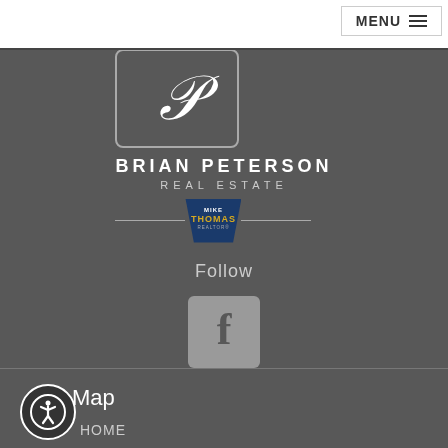MENU
[Figure (logo): Brian Peterson Real Estate logo with stylized P in a rounded rectangle, Mike Thomas Realtors badge below]
Follow
[Figure (logo): Facebook icon - grey square with white F]
Site Map
[Figure (other): Accessibility icon - person in circle]
HOME